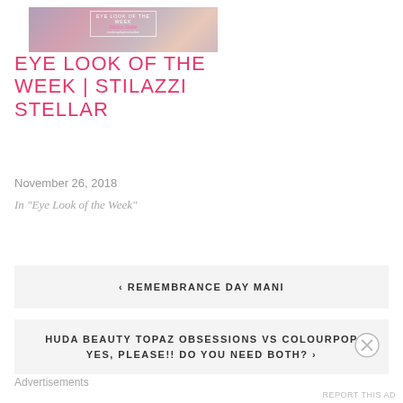[Figure (photo): Makeup palette product photo with overlay text showing 'EYE LOOK OF THE WEEK | Stilazzi Stellar' in a bordered box]
EYE LOOK OF THE WEEK | STILAZZI STELLAR
November 26, 2018
In "Eye Look of the Week"
‹ REMEMBRANCE DAY MANI
HUDA BEAUTY TOPAZ OBSESSIONS VS COLOURPOP YES, PLEASE!! DO YOU NEED BOTH? ›
Advertisements